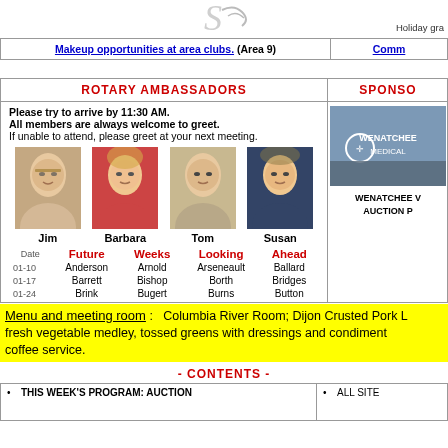[Figure (logo): Decorative script logo at top center]
Holiday gra
| Makeup opportunities at area clubs. (Area 9) | Comm |
| --- | --- |
ROTARY AMBASSADORS
Please try to arrive by 11:30 AM.
All members are always welcome to greet.
If unable to attend, please greet at your next meeting.
[Figure (photo): Four headshot photos: Jim, Barbara, Tom, Susan]
| Date | Future | Weeks | Looking | Ahead |
| --- | --- | --- | --- | --- |
| 01-10 | Anderson | Arnold | Arseneault | Ballard |
| 01-17 | Barrett | Bishop | Borth | Bridges |
| 01-24 | Brink | Bugert | Burns | Button |
SPONSO
[Figure (photo): Wenatchee Medical sponsor advertisement image]
WENATCHEE V
AUCTION P
Menu and meeting room :   Columbia River Room; Dijon Crusted Pork L fresh vegetable medley, tossed greens with dressings and condiment coffee service.
- CONTENTS -
THIS WEEK'S PROGRAM: AUCTION
ALL SITE